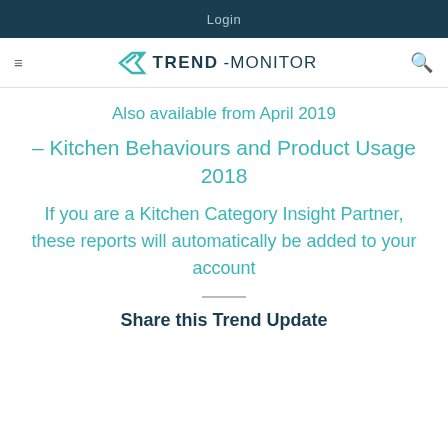Login
[Figure (logo): Trend-Monitor logo with teal arrow icon and bold dark navy text]
Also available from April 2019
– Kitchen Behaviours and Product Usage 2018
If you are a Kitchen Category Insight Partner, these reports will automatically be added to your account
Share this Trend Update